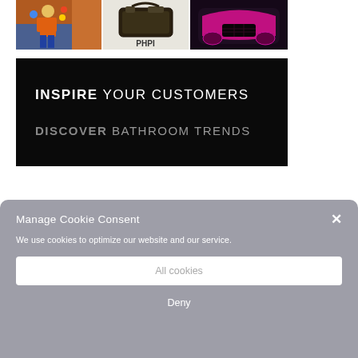[Figure (photo): Person in high-vis orange jacket and blue shorts holding colored balls, standing in front of a brick wall]
[Figure (photo): Tool bag on light background with PHPI text logo below]
[Figure (photo): Pink/magenta colored truck cab front on dark background]
[Figure (illustration): Black banner with text: INSPIRE YOUR CUSTOMERS and DISCOVER BATHROOM TRENDS]
Manage Cookie Consent
We use cookies to optimize our website and our service.
All cookies
Deny